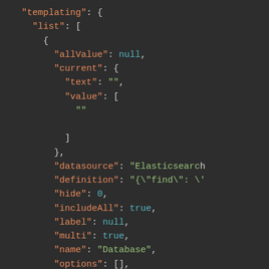"templating": {
  "list": [
    {
      "allValue": null,
      "current": {
        "text": "",
        "value": [
          ""
        ]
      },
      "datasource": "Elasticsearch
      "definition": "{\"find\": \'
      "hide": 0,
      "includeAll": true,
      "label": null,
      "multi": true,
      "name": "Database",
      "options": [],
      "query": "{\"find\": \"terms